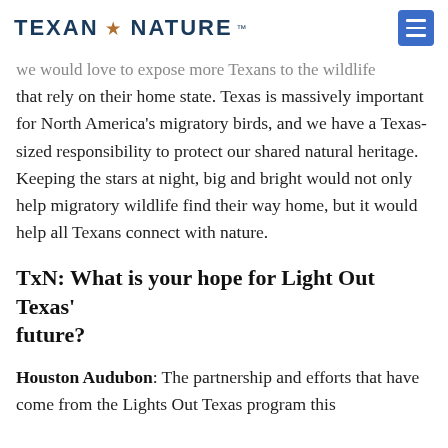TEXAN by NATURE
we would love to expose more Texans to the wildlife that rely on their home state. Texas is massively important for North America's migratory birds, and we have a Texas-sized responsibility to protect our shared natural heritage. Keeping the stars at night, big and bright would not only help migratory wildlife find their way home, but it would help all Texans connect with nature.
TxN: What is your hope for Light Out Texas' future?
Houston Audubon: The partnership and efforts that have come from the Lights Out Texas program this